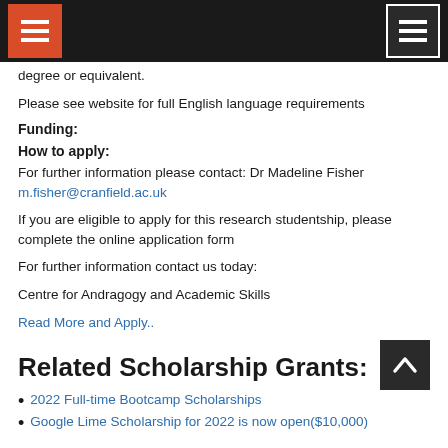[Navigation bar with hamburger menus]
degree or equivalent.
Please see website for full English language requirements
Funding:
How to apply:
For further information please contact: Dr Madeline Fisher m.fisher@cranfield.ac.uk
If you are eligible to apply for this research studentship, please complete the online application form
For further information contact us today:
Centre for Andragogy and Academic Skills
Read More and Apply..
Related Scholarship Grants:
2022 Full-time Bootcamp Scholarships
Google Lime Scholarship for 2022 is now open($10,000)